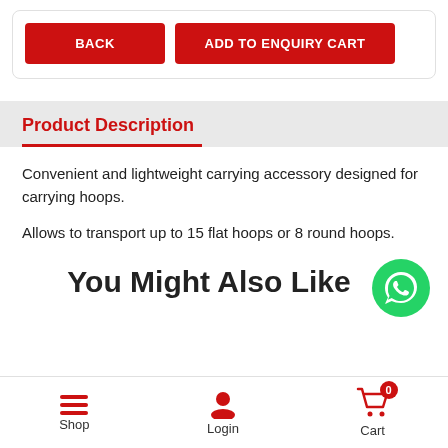BACK
ADD TO ENQUIRY CART
Product Description
Convenient and lightweight carrying accessory designed for carrying hoops.
Allows to transport up to 15 flat hoops or 8 round hoops.
You Might Also Like
[Figure (logo): WhatsApp green circle button icon]
Shop  Login  Cart